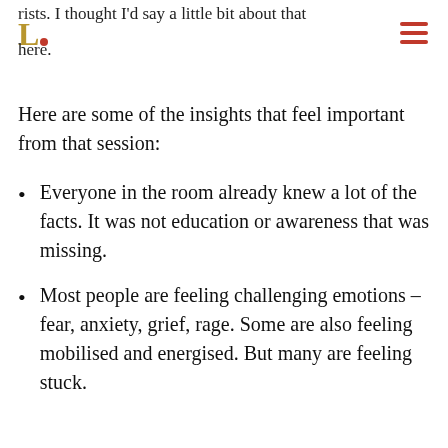rists. I thought I'd say a little bit about that here.
Here are some of the insights that feel important from that session:
Everyone in the room already knew a lot of the facts. It was not education or awareness that was missing.
Most people are feeling challenging emotions – fear, anxiety, grief, rage. Some are also feeling mobilised and energised. But many are feeling stuck.